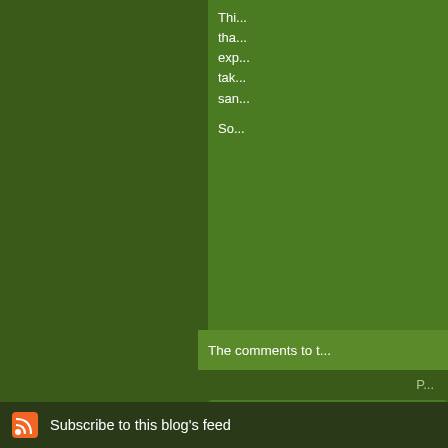Thi... tha... exp... tak... san... So...
The comments to t...
P...
How to Tell Some...
You know how to le... Do you know how t...
Subscribe to this blog's feed